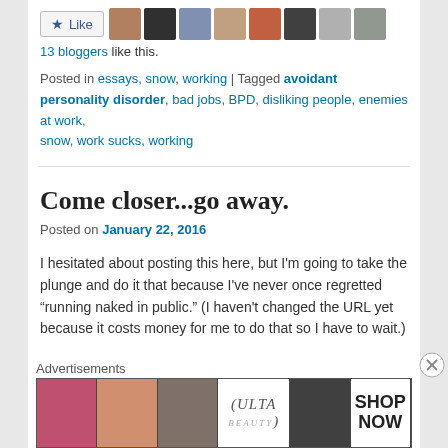[Figure (other): Like button with star icon and row of blogger avatar photos]
13 bloggers like this.
Posted in essays, snow, working | Tagged avoidant personality disorder, bad jobs, BPD, disliking people, enemies at work, snow, work sucks, working
Come closer...go away.
Posted on January 22, 2016
I hesitated about posting this here, but I'm going to take the plunge and do it that because I've never once regretted “running naked in public.” (I haven't changed the URL yet because it costs money for me to do that so I have to wait.)
Advertisements
[Figure (photo): Ulta beauty advertisement banner with makeup imagery and SHOP NOW text]